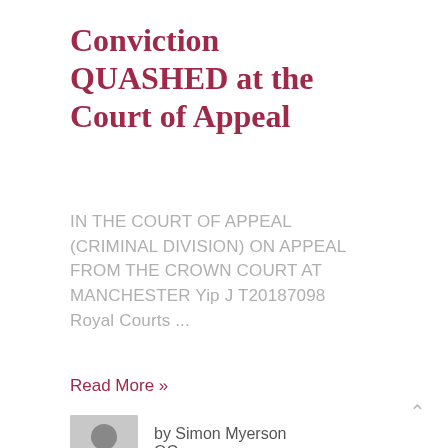Conviction QUASHED at the Court of Appeal
IN THE COURT OF APPEAL (CRIMINAL DIVISION) ON APPEAL FROM THE CROWN COURT AT MANCHESTER Yip J T20187098 Royal Courts ...
Read More »
by Simon Myerson QC